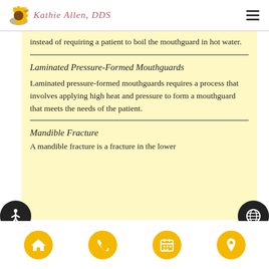Kathie Allen, DDS
instead of requiring a patient to boil the mouthguard in hot water.
Laminated Pressure-Formed Mouthguards
Laminated pressure-formed mouthguards requires a process that involves applying high heat and pressure to form a mouthguard that meets the needs of the patient.
Mandible Fracture
A mandible fracture is a fracture in the lower...